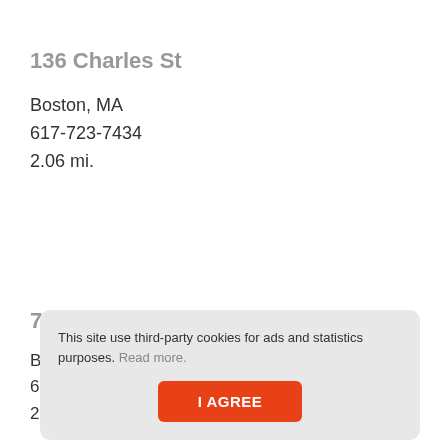136 Charles St
Boston, MA
617-723-7434
2.06 mi.
7 Avenue De Lafayette
This site use third-party cookies for ads and statistics purposes. Read more.
I AGREE